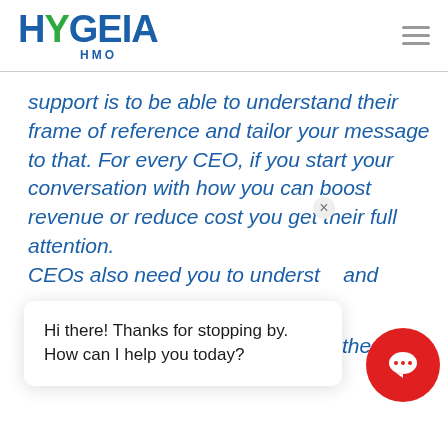[Figure (logo): HYGEIA HMO logo with green Y character and blue text]
support is to be able to understand their frame of reference and tailor your message to that. For every CEO, if you start your conversation with how you can boost revenue or reduce cost you get their full attention.
CEOs also need you to understand... to share this understanding with others. Let the CEO see that you
Hi there! Thanks for stopping by. How can I help you today?